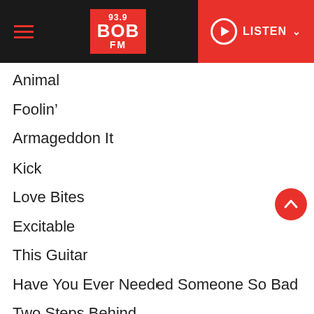93.9 BOB FM — LISTEN
Animal
Foolin'
Armageddon It
Kick
Love Bites
Excitable
This Guitar
Have You Ever Needed Someone So Bad
Two Steps Behind
Rocket
Bringin' on the Heartbreak
Switch 625
Hysteria